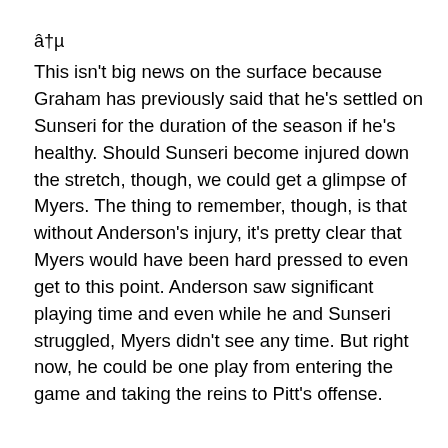â†µ
This isn't big news on the surface because Graham has previously said that he's settled on Sunseri for the duration of the season if he's healthy. Should Sunseri become injured down the stretch, though, we could get a glimpse of Myers. The thing to remember, though, is that without Anderson's injury, it's pretty clear that Myers would have been hard pressed to even get to this point. Anderson saw significant playing time and even while he and Sunseri struggled, Myers didn't see any time. But right now, he could be one play from entering the game and taking the reins to Pitt's offense.